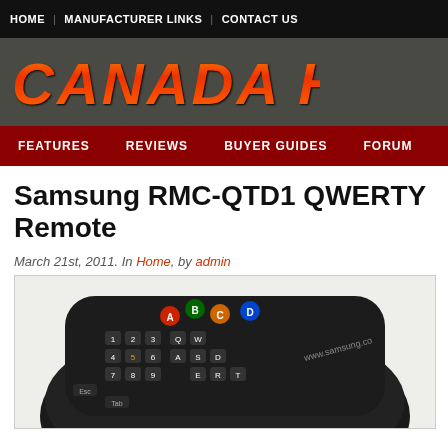HOME | MANUFACTURER LINKS | CONTACT US
[Figure (logo): Canada HiFi logo in orange/red italic bold text on dark grey background]
FEATURES  REVIEWS  BUYER GUIDES  FORUM
Samsung RMC-QTD1 QWERTY Remote
March 21st, 2011. In Home, by admin
[Figure (photo): Photo of Samsung RMC-QTD1 QWERTY remote control, black, showing keyboard layout with A, B, C, D colored buttons and QWERTY keys, with www.samsung.com text visible]